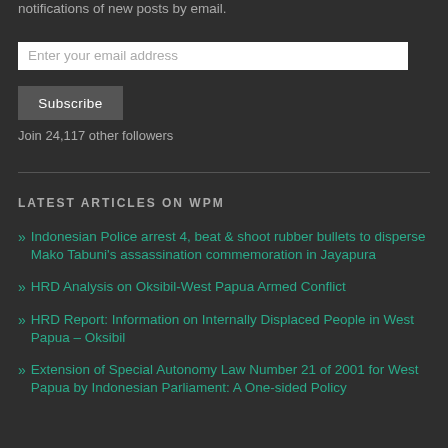notifications of new posts by email.
Enter your email address
Subscribe
Join 24,117 other followers
LATEST ARTICLES ON WPM
Indonesian Police arrest 4, beat & shoot rubber bullets to disperse Mako Tabuni's assassination commemoration in Jayapura
HRD Analysis on Oksibil-West Papua Armed Conflict
HRD Report: Information on Internally Displaced People in West Papua – Oksibil
Extension of Special Autonomy Law Number 21 of 2001 for West Papua by Indonesian Parliament: A One-sided Policy